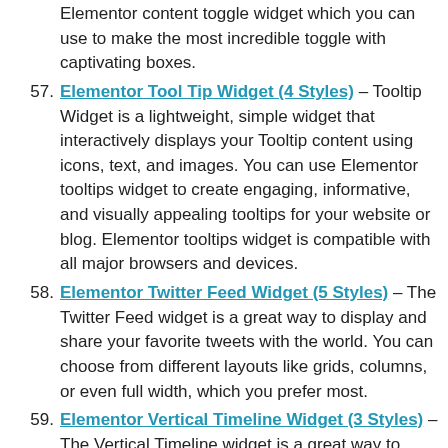Elementor content toggle widget which you can use to make the most incredible toggle with captivating boxes.
57. Elementor Tool Tip Widget (4 Styles) – Tooltip Widget is a lightweight, simple widget that interactively displays your Tooltip content using icons, text, and images. You can use Elementor tooltips widget to create engaging, informative, and visually appealing tooltips for your website or blog. Elementor tooltips widget is compatible with all major browsers and devices.
58. Elementor Twitter Feed Widget (5 Styles) – The Twitter Feed widget is a great way to display and share your favorite tweets with the world. You can choose from different layouts like grids, columns, or even full width, which you prefer most.
59. Elementor Vertical Timeline Widget (3 Styles) – The Vertical Timeline widget is a great way to